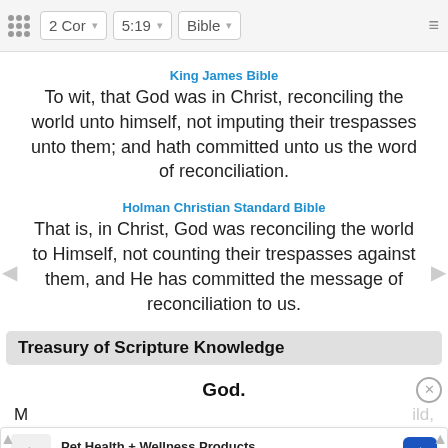2 Cor  5:19  Bible
King James Bible
To wit, that God was in Christ, reconciling the world unto himself, not imputing their trespasses unto them; and hath committed unto us the word of reconciliation.
Holman Christian Standard Bible
That is, in Christ, God was reconciling the world to Himself, not counting their trespasses against them, and He has committed the message of reconciliation to us.
Treasury of Scripture Knowledge
God.
M ... ild,
Pet Health + Wellness Products  Loyal Companion